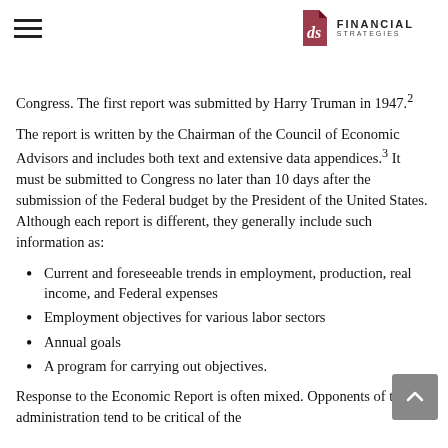DS Financial Strategies
Congress. The first report was submitted by Harry Truman in 1947.²
The report is written by the Chairman of the Council of Economic Advisors and includes both text and extensive data appendices.³ It must be submitted to Congress no later than 10 days after the submission of the Federal budget by the President of the United States. Although each report is different, they generally include such information as:
Current and foreseeable trends in employment, production, real income, and Federal expenses
Employment objectives for various labor sectors
Annual goals
A program for carrying out objectives.
Response to the Economic Report is often mixed. Opponents of the administration tend to be critical of the